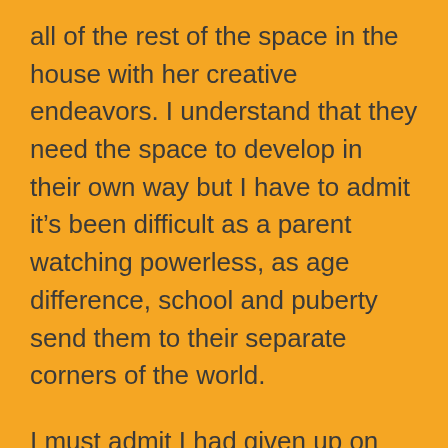all of the rest of the space in the house with her creative endeavors. I understand that they need the space to develop in their own way but I have to admit it's been difficult as a parent watching powerless, as age difference, school and puberty send them to their separate corners of the world.

I must admit I had given up on our family rituals. Running a household, business and caring for two school aged children is more than a full-time job. I'm usually ready to go to bed before they do, and I felt that they had grown out of our summer vacations, back to school gifts, end of school dinner celebration, church service (twice a month if we can)